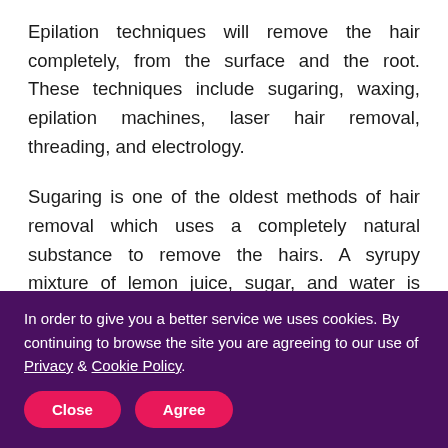Epilation techniques will remove the hair completely, from the surface and the root. These techniques include sugaring, waxing, epilation machines, laser hair removal, threading, and electrology.
Sugaring is one of the oldest methods of hair removal which uses a completely natural substance to remove the hairs. A syrupy mixture of lemon juice, sugar, and water is applied to the skin like a wax, but it is reported to be less painful and causes less irritation than waxing does. Results last around four weeks. Waxing is used all over the
In order to give you a better service we uses cookies. By continuing to browse the site you are agreeing to our use of Privacy & Cookie Policy. [Close] [Agree]